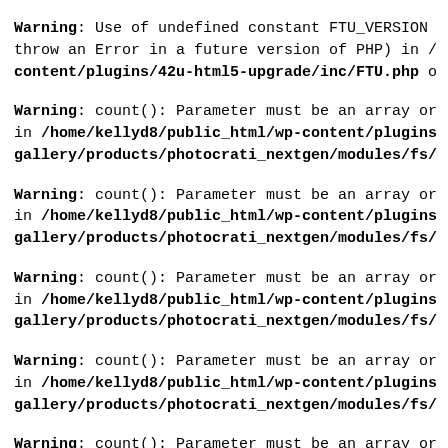Warning: Use of undefined constant FTU_VERSION (this will throw an Error in a future version of PHP) in /...content/plugins/42u-html5-upgrade/inc/FTU.php o...
Warning: count(): Parameter must be an array or... in /home/kellyd8/public_html/wp-content/plugins.../gallery/products/photocrati_nextgen/modules/fs/...
Warning: count(): Parameter must be an array or... in /home/kellyd8/public_html/wp-content/plugins.../gallery/products/photocrati_nextgen/modules/fs/...
Warning: count(): Parameter must be an array or... in /home/kellyd8/public_html/wp-content/plugins.../gallery/products/photocrati_nextgen/modules/fs/...
Warning: count(): Parameter must be an array or... in /home/kellyd8/public_html/wp-content/plugins.../gallery/products/photocrati_nextgen/modules/fs/...
Warning: count(): Parameter must be an array or...